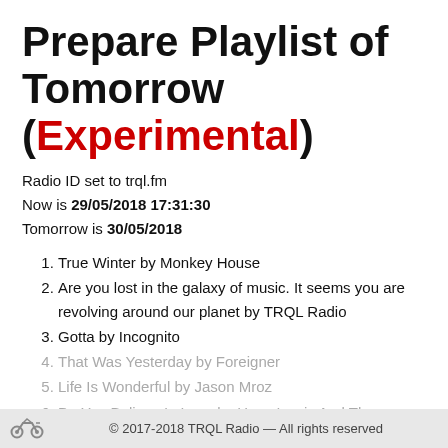Prepare Playlist of Tomorrow (Experimental)
Radio ID set to trql.fm
Now is 29/05/2018 17:31:30
Tomorrow is 30/05/2018
True Winter by Monkey House
Are you lost in the galaxy of music. It seems you are revolving around our planet by TRQL Radio
Gotta by Incognito
That Was Yesterday by Foreigner
Life Is Wonderful by Jason Mroz
Do You Believe In Love by Huey Lewis And The
© 2017-2018 TRQL Radio — All rights reserved